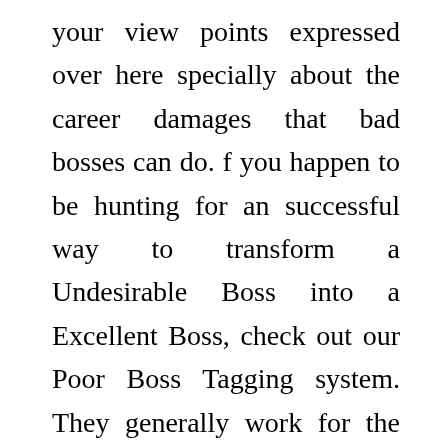your view points expressed over here specially about the career damages that bad bosses can do. f you happen to be hunting for an successful way to transform a Undesirable Boss into a Excellent Boss, check out our Poor Boss Tagging system. They generally work for the stores themselves and are paid a regular salary along with a healthful commission for every single sale.